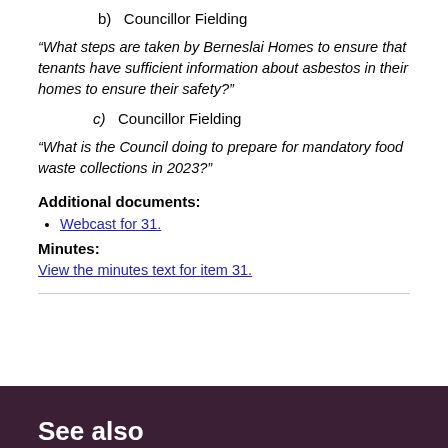b)   Councillor Fielding
“What steps are taken by Berneslai Homes to ensure that tenants have sufficient information about asbestos in their homes to ensure their safety?”
c)   Councillor Fielding
“What is the Council doing to prepare for mandatory food waste collections in 2023?”
Additional documents:
Webcast for 31.
Minutes:
View the minutes text for item 31.
See also